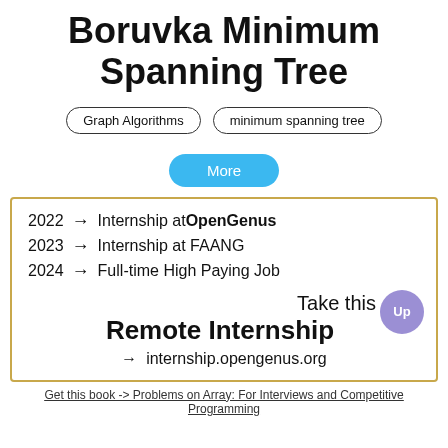Boruvka Minimum Spanning Tree
Graph Algorithms | minimum spanning tree
More
2022 → Internship at OpenGenus
2023 → Internship at FAANG
2024 → Full-time High Paying Job
Take this Remote Internship → internship.opengenus.org
Get this book -> Problems on Array: For Interviews and Competitive Programming